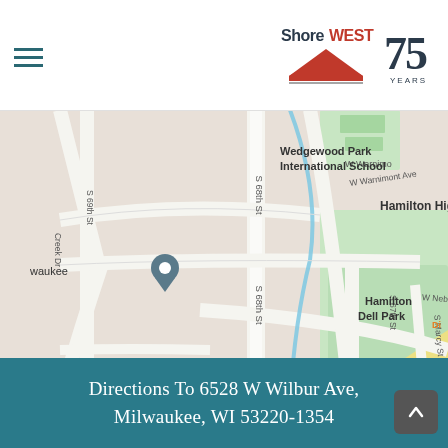ShoreWest Realtors 75 Years logo and hamburger menu
[Figure (map): Street map centered near 6528 W Wilbur Ave, Milwaukee, WI showing surrounding streets: S 68th St, S 69th St, S 67th St, S Marcy St, S 63rd St, W Warnimont Ave, W Wilbur Ave, W Dodge Pl, W Nebraska Av, Millhaven Creek Dr, and landmarks: Wedgewood Park International School, Hamilton High School, Hamilton Dell Park, Pass It On Club, The Charter Pirate. A location pin is shown on Millhaven area. A blue diagonal line (creek/path) runs through the map.]
Directions To 6528 W Wilbur Ave, Milwaukee, WI 53220-1354